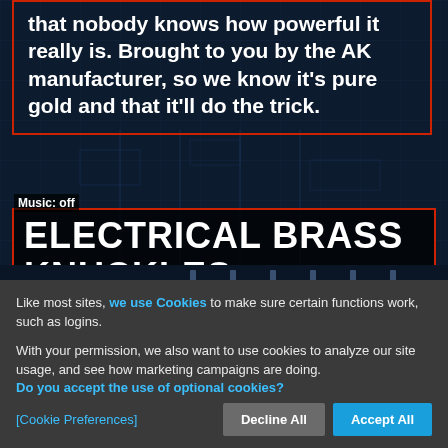that nobody knows how powerful it really is. Brought to you by the AK manufacturer, so we know it's pure gold and that it'll do the trick.
Music: off
ELECTRICAL BRASS KNUCKLES
Like most sites, we use Cookies to make sure certain functions work, such as logins.
With your permission, we also want to use cookies to analyze our site usage, and see how marketing campaigns are doing. Do you accept the use of optional cookies?
[Cookie Preferences]
Decline All
Accept All